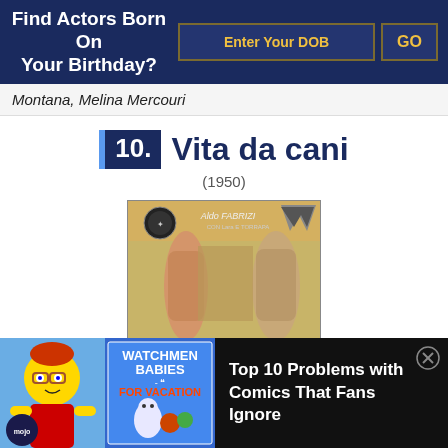Find Actors Born On Your Birthday?
Montana, Melina Mercouri
10. Vita da cani
(1950)
[Figure (photo): Vintage Italian movie poster for Vita da cani (1950) featuring Aldo Fabrizi and other actors]
[Figure (screenshot): WatchMojo advertisement showing Watchmen Babies in For Vacation thumbnail with Simpsons character]
Top 10 Problems with Comics That Fans Ignore